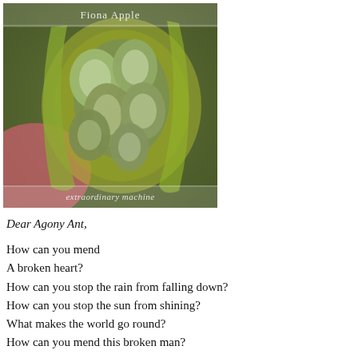[Figure (photo): Close-up photo of green Fiona Apple 'extraordinary machine' album artwork showing green pod-like shapes. Text 'Fiona Apple' appears at top and 'extraordinary machine' at bottom of the image.]
Dear Agony Ant,
How can you mend
A broken heart?
How can you stop the rain from falling down?
How can you stop the sun from shining?
What makes the world go round?
How can you mend this broken man?